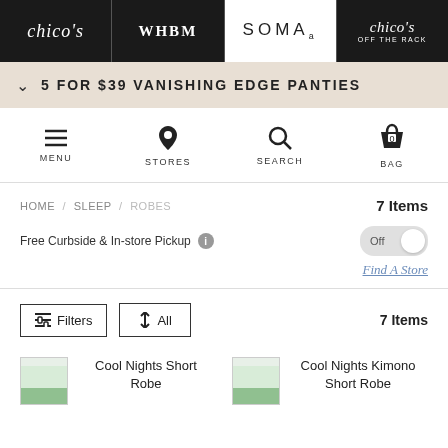chico's | WHBM | SOMA | chico's OFF THE RACK
5 FOR $39 VANISHING EDGE PANTIES
MENU | STORES | SEARCH | BAG
HOME / SLEEP / ROBES    7 Items
Free Curbside & In-store Pickup  Off
Find A Store
Filters  All  7 Items
Cool Nights Short Robe
Cool Nights Kimono Short Robe